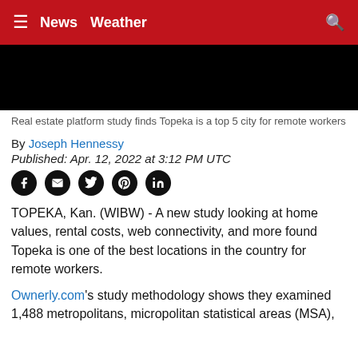≡ News Weather 🔍
[Figure (photo): Black image block, partially visible photo]
Real estate platform study finds Topeka is a top 5 city for remote workers
By Joseph Hennessy
Published: Apr. 12, 2022 at 3:12 PM UTC
[Figure (infographic): Social media sharing icons: Facebook, Mail, Twitter, Pinterest, LinkedIn]
TOPEKA, Kan. (WIBW) - A new study looking at home values, rental costs, web connectivity, and more found Topeka is one of the best locations in the country for remote workers.
Ownerly.com's study methodology shows they examined 1,488 metropolitans, micropolitan statistical areas (MSA),